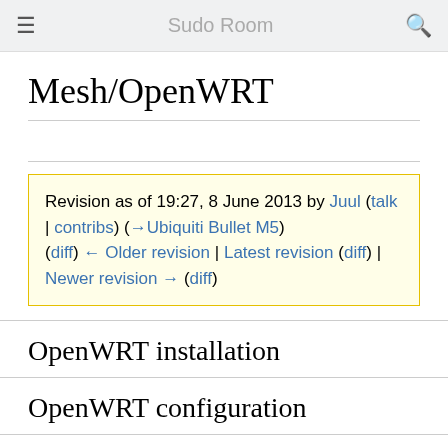≡  Sudo Room  🔍
Mesh/OpenWRT
Revision as of 19:27, 8 June 2013 by Juul (talk | contribs) (→Ubiquiti Bullet M5)
(diff) ← Older revision | Latest revision (diff) | Newer revision → (diff)
OpenWRT installation
OpenWRT configuration
Router-specific notes